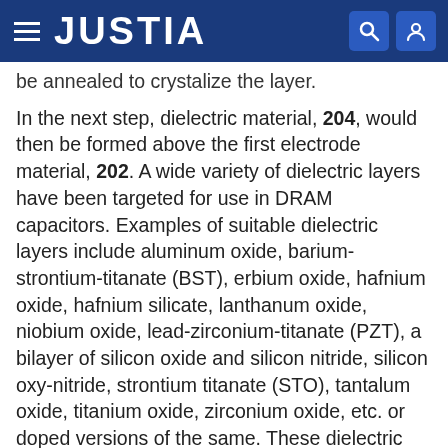JUSTIA
be annealed to crystalize the layer.
In the next step, dielectric material, 204, would then be formed above the first electrode material, 202. A wide variety of dielectric layers have been targeted for use in DRAM capacitors. Examples of suitable dielectric layers include aluminum oxide, barium-strontium-titanate (BST), erbium oxide, hafnium oxide, hafnium silicate, lanthanum oxide, niobium oxide, lead-zirconium-titanate (PZT), a bilayer of silicon oxide and silicon nitride, silicon oxy-nitride, strontium titanate (STO), tantalum oxide, titanium oxide, zirconium oxide, etc. or doped versions of the same. These dielectric layers may be formed as a single layer or may be formed as a hybrid or nanolaminate structure. In some embodiments, the dielectric layer includes doped titanium oxide. Suitable dopants for use with titanium oxide dielectric layers include Al, Ce, Sr, Er, Ge, Gd, Hf, La, Mn, Si, Sn, Sr, Y...